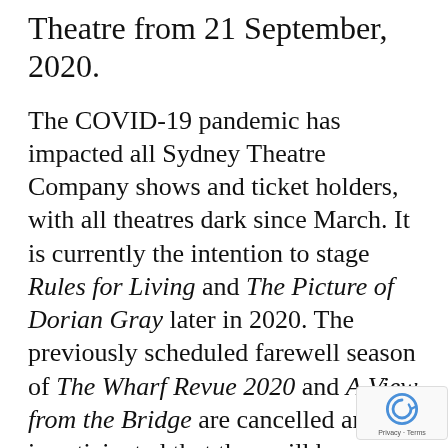Theatre from 21 September, 2020.
The COVID-19 pandemic has impacted all Sydney Theatre Company shows and ticket holders, with all theatres dark since March. It is currently the intention to stage Rules for Living and The Picture of Dorian Gray later in 2020. The previously scheduled farewell season of The Wharf Revue 2020 and A View from the Bridge are cancelled and it is anticipated that they will be rescheduled into 2021. Further updates for each show will be announced in due course.